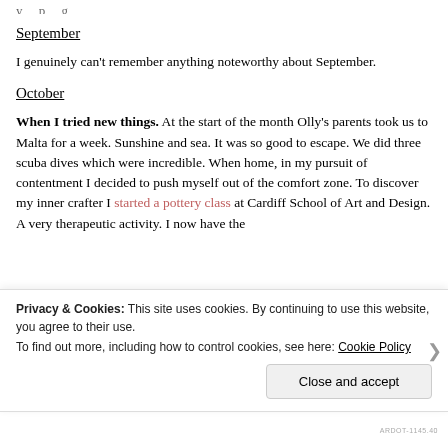September
I genuinely can't remember anything noteworthy about September.
October
When I tried new things. At the start of the month Olly's parents took us to Malta for a week. Sunshine and sea. It was so good to escape. We did three scuba dives which were incredible. When home, in my pursuit of contentment I decided to push myself out of the comfort zone. To discover my inner crafter I started a pottery class at Cardiff School of Art and Design. A very therapeutic activity. I now have the
Privacy & Cookies: This site uses cookies. By continuing to use this website, you agree to their use.
To find out more, including how to control cookies, see here: Cookie Policy
Close and accept